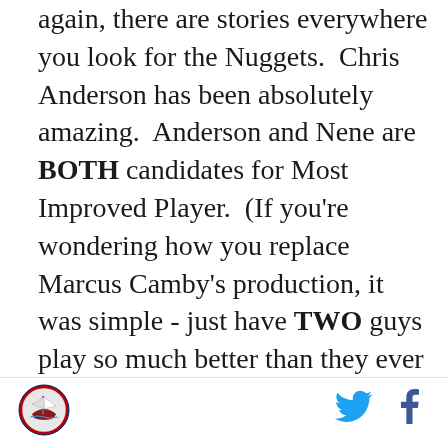again, there are stories everywhere you look for the Nuggets.  Chris Anderson has been absolutely amazing.  Anderson and Nene are BOTH candidates for Most Improved Player.  (If you're wondering how you replace Marcus Camby's production, it was simple - just have TWO guys play so much better than they ever have that they are in consideration for an award.  A great plan, if not easily repeatable.)  J.R. Smith turning into the greatest scorer in the history of the universe from time to time.  Kenyon Martin knocking people down.  And this guy Carmelo is always a story.  As for Dallas, if the refs are going to allow the Nuggets to knock Dirk all over the court and only give Dallas 13 free throws (to Denver's 36) then this series is already over.  Someone had this letter from the NBA come to...
[Figure (logo): SB Nation logo - circular badge with ship/boat illustration]
[Figure (logo): Twitter bird icon in blue]
[Figure (logo): Facebook 'f' icon in dark blue]